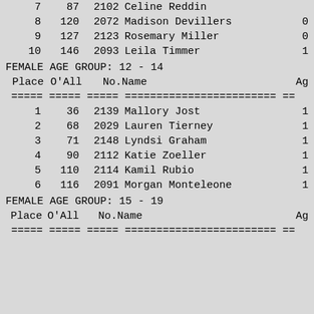| Place | O'All | No. | Name | Ag |
| --- | --- | --- | --- | --- |
| 7 | 87 | 2102 | Celine Reddin |  |
| 8 | 120 | 2072 | Madison Devillers | 0 |
| 9 | 127 | 2123 | Rosemary Miller | 0 |
| 10 | 146 | 2093 | Leila Timmer | 1 |
FEMALE AGE GROUP:  12 - 14
| Place | O'All | No. | Name | Ag |
| --- | --- | --- | --- | --- |
| 1 | 36 | 2139 | Mallory Jost | 1 |
| 2 | 68 | 2029 | Lauren Tierney | 1 |
| 3 | 71 | 2148 | Lyndsi Graham | 1 |
| 4 | 90 | 2112 | Katie Zoeller | 1 |
| 5 | 110 | 2114 | Kamil Rubio | 1 |
| 6 | 116 | 2091 | Morgan Monteleone | 1 |
FEMALE AGE GROUP:  15 - 19
| Place | O'All | No. | Name | Ag |
| --- | --- | --- | --- | --- |